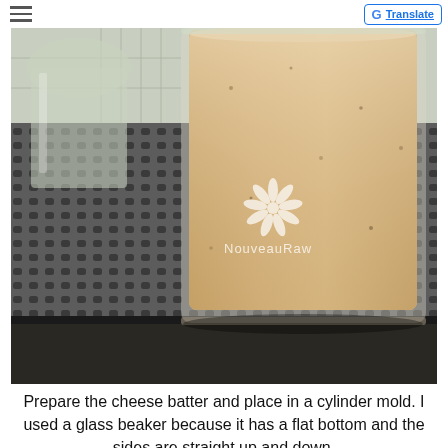NouveauRaw | Translate
[Figure (photo): A glass beaker filled with creamy beige cheese batter sitting on a perforated metal dehydrator tray. The beaker has a NouveauRaw flower logo watermark on it. Another glass container is partially visible at the left. The tray sits on a dehydrator unit.]
Prepare the cheese batter and place in a cylinder mold. I used a glass beaker because it has a flat bottom and the sides are straight up and down.